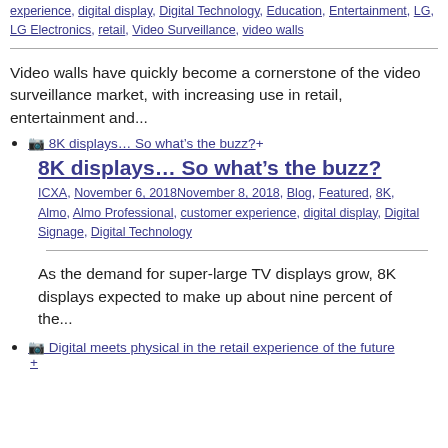experience, digital display, Digital Technology, Education, Entertainment, LG, LG Electronics, retail, Video Surveillance, video walls
Video walls have quickly become a cornerstone of the video surveillance market, with increasing use in retail, entertainment and...
8K displays… So what's the buzz? +
8K displays… So what's the buzz?
ICXA, November 6, 2018November 8, 2018, Blog, Featured, 8K, Almo, Almo Professional, customer experience, digital display, Digital Signage, Digital Technology
As the demand for super-large TV displays grow, 8K displays expected to make up about nine percent of the...
Digital meets physical in the retail experience of the future +